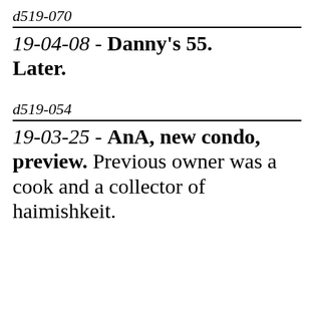d519-070
19-04-08 - Danny's 55. Later.
d519-054
19-03-25 - AnA, new condo, preview. Previous owner was a cook and a collector of haimishkeit.